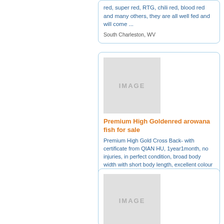red, super red, RTG, chili red, blood red and many others, they are all well fed and will come ...
South Charleston, WV
[Figure (photo): Image placeholder for listing photo]
Premium High Goldenred arowana fish for sale
Premium High Gold Cross Back- with certificate from QIAN HU, 1year1month, no injuries, in perfect condition, broad body width with short body length, excellent colour with purple ...
Summit, NJ
[Figure (photo): Image placeholder for listing photo]